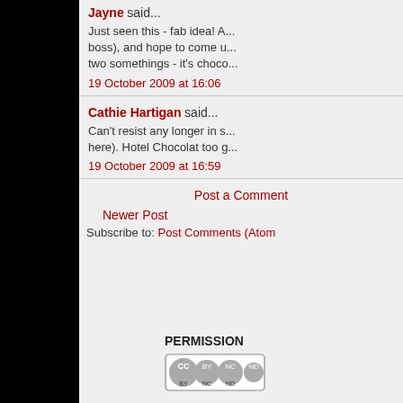Jayne said... Just seen this - fab idea! A... boss), and hope to come u... two somethings - it's choco... 19 October 2009 at 16:06
Cathie Hartigan said... Can't resist any longer in s... here). Hotel Chocolat too g... 19 October 2009 at 16:59
Post a Comment
Newer Post
Subscribe to: Post Comments (Atom)
PERMISSION
[Figure (logo): Creative Commons license badge with BY NC ND icons]